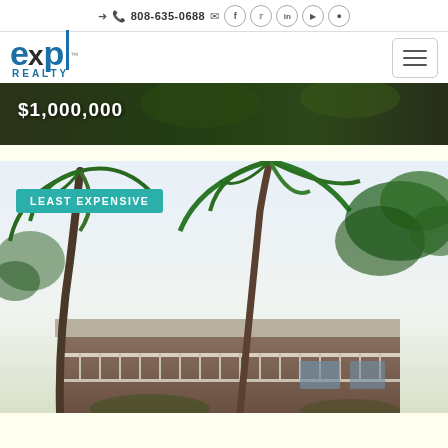808-635-0688
[Figure (logo): eXp Realty logo in blue and dark colors]
[Figure (photo): Exterior tropical home photo with price overlay showing $1,000,000]
[Figure (photo): Tropical property with palm trees and house exterior labeled LEAST EXPENSIVE]